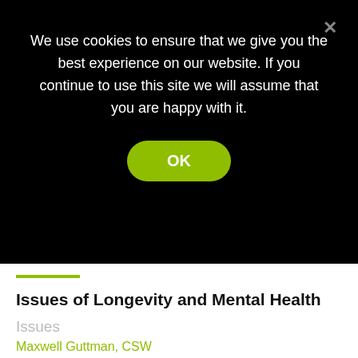We use cookies to ensure that we give you the best experience on our website. If you continue to use this site we will assume that you are happy with it.
OK
[Figure (illustration): Colorful illustrated scene on orange background showing people around a large red brain, with a doctor holding a stethoscope, and a blue medical cross symbol.]
Issues of Longevity and Mental Health Issues
Maxwell Guttman, CSW